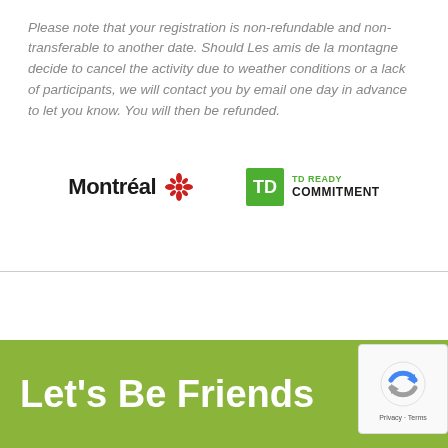Please note that your registration is non-refundable and non-transferable to another date. Should Les amis de la montagne decide to cancel the activity due to weather conditions or a lack of participants, we will contact you by email one day in advance to let you know. You will then be refunded.
[Figure (logo): Montréal city logo with flower emblem and TD Ready Commitment logo side by side]
Let's Be Friends
[Figure (logo): reCAPTCHA badge with Privacy and Terms links]